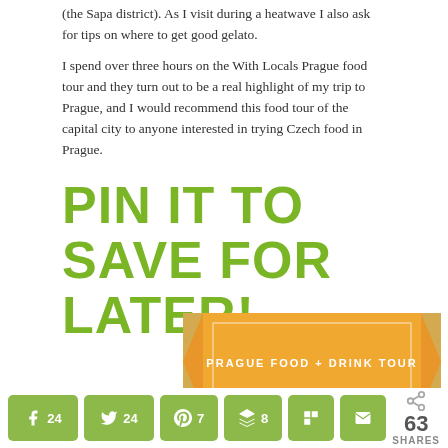(the Sapa district). As I visit during a heatwave I also ask for tips on where to get good gelato.
I spend over three hours on the With Locals Prague food tour and they turn out to be a real highlight of my trip to Prague, and I would recommend this food tour of the capital city to anyone interested in trying Czech food in Prague.
PIN IT TO SAVE FOR LATER!
[Figure (illustration): Orange banner with text 'PRAGUE FOOD + DRINK TOUR' in white letters, styled as a ribbon/pennant graphic]
[Figure (infographic): Social share bar with buttons: Facebook (24), Twitter (24), Pinterest (7), Buffer (8), Flipboard, Email, and total 63 SHARES]